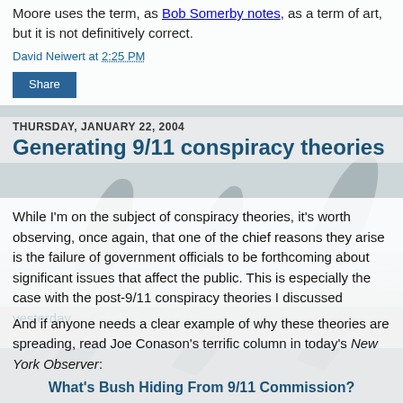Moore uses the term, as Bob Somerby notes, as a term of art, but it is not definitively correct.
David Neiwert at 2:25 PM
Share
[Figure (photo): Background photo of orca whale fins above water surface, grayish-blue tones]
THURSDAY, JANUARY 22, 2004
Generating 9/11 conspiracy theories
While I'm on the subject of conspiracy theories, it's worth observing, once again, that one of the chief reasons they arise is the failure of government officials to be forthcoming about significant issues that affect the public. This is especially the case with the post-9/11 conspiracy theories I discussed yesterday.
And if anyone needs a clear example of why these theories are spreading, read Joe Conason's terrific column in today's New York Observer:
What's Bush Hiding From 9/11 Commission?